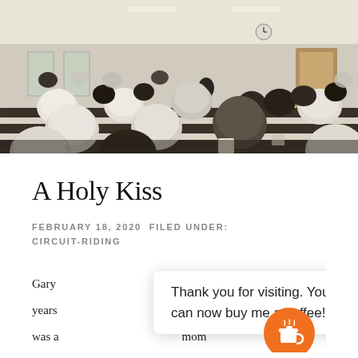[Figure (photo): Interior of a church or meeting house with rows of people seated in pews, viewed from behind. Many women wear white prayer caps/bonnets. People are dressed in plain dark clothing consistent with Amish or Mennonite attire. A speaker stands at the front of the room.]
A Holy Kiss
FEBRUARY 18, 2020  FILED UNDER: CIRCUIT-RIDING
Gary [obscured by popup] e night years [obscured] rea was a [obscured] mom
Thank you for visiting. You can now buy me a coffee!
My friend [text continues] fellowship with...